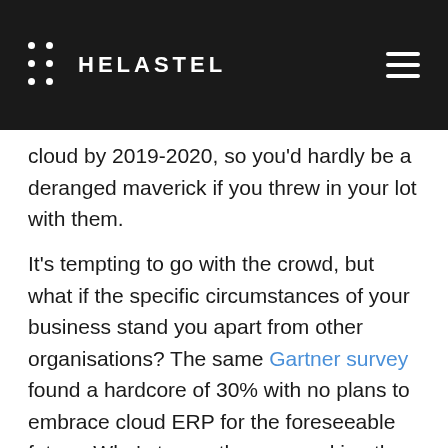HELASTEL
cloud by 2019-2020, so you'd hardly be a deranged maverick if you threw in your lot with them.
It's tempting to go with the crowd, but what if the specific circumstances of your business stand you apart from other organisations? The same Gartner survey found a hardcore of 30% with no plans to embrace cloud ERP for the foreseeable future. Who's to say they are making the wrong choice by eschewing cloud ERP and sticking to what they know,